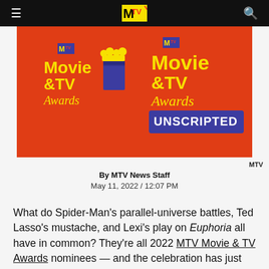MTV
[Figure (illustration): MTV Movie & TV Awards promotional image on red background showing two logos: 'MTV Movie & TV Awards' with popcorn graphic on left, and 'MTV Movie & TV Awards UNSCRIPTED' on right]
MTV
By MTV News Staff
May 11, 2022 / 12:07 PM
What do Spider-Man's parallel-universe battles, Ted Lasso's mustache, and Lexi's play on Euphoria all have in common? They're all 2022 MTV Movie & TV Awards nominees — and the celebration has just begun.